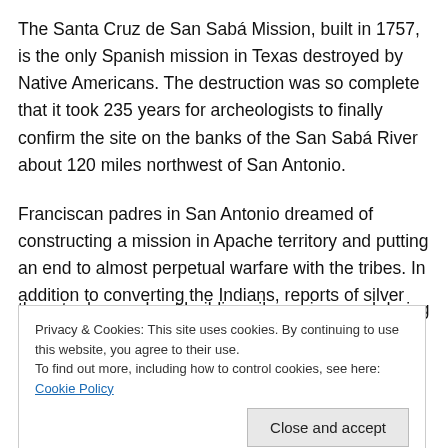The Santa Cruz de San Sabá Mission, built in 1757, is the only Spanish mission in Texas destroyed by Native Americans. The destruction was so complete that it took 235 years for archeologists to finally confirm the site on the banks of the San Sabá River about 120 miles northwest of San Antonio.
Franciscan padres in San Antonio dreamed of constructing a mission in Apache territory and putting an end to almost perpetual warfare with the tribes. In addition to converting the Indians, reports of silver and gold deposits encouraged [them to dream about building silver mines during the ...]
Privacy & Cookies: This site uses cookies. By continuing to use this website, you agree to their use.
To find out more, including how to control cookies, see here: Cookie Policy
Apacheria. The tribes wanted Spanish protection from